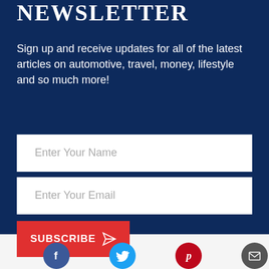NEWSLETTER
Sign up and receive updates for all of the latest articles on automotive, travel, money, lifestyle and so much more!
Enter Your Name
Enter Your Email
SUBSCRIBE
[Figure (infographic): Social media icon buttons: Facebook, Twitter, Pinterest, Email in a footer bar]